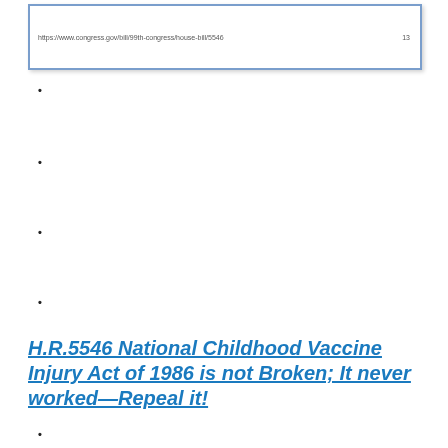[Figure (screenshot): Screenshot of a webpage with URL: https://www.congress.gov/bill/99th-congress/house-bill/5546 and page number indicator]
•
•
•
•
H.R.5546 National Childhood Vaccine Injury Act of 1986 is not Broken; It never worked—Repeal it!
•